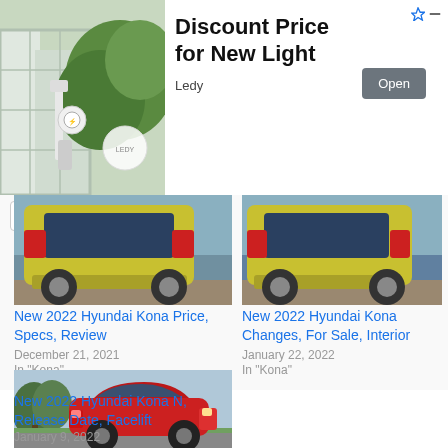[Figure (other): Advertisement banner: image of EV charging station on left, text 'Discount Price for New Light' with 'Open' button, brand 'Ledy']
[Figure (photo): Yellow/green Hyundai Kona rear view at beach, cropped top portion]
New 2022 Hyundai Kona Price, Specs, Review
December 21, 2021
In "Kona"
[Figure (photo): Yellow/green Hyundai Kona rear view at beach, cropped top portion - second image]
New 2022 Hyundai Kona Changes, For Sale, Interior
January 22, 2022
In "Kona"
[Figure (photo): Red 2022 Hyundai Kona N driving on road, side profile]
New 2022 Hyundai Kona N, Release Date, Facelift
January 9, 2022
In "Kona"